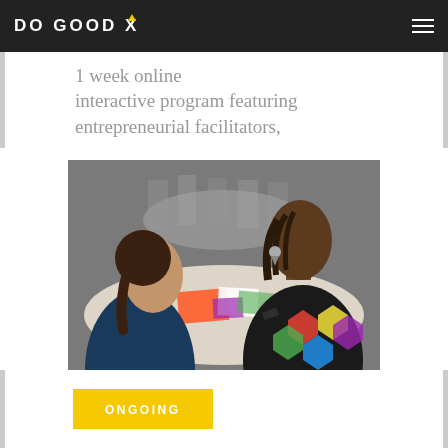DO GOOD X
1 week online interactive program featuring entrepreneurial facilitators,
[Figure (photo): Two women collaborating at a table with colorful printed materials; one woman in a dark sleeveless top facing away, the other in a black geometric patterned outfit facing toward camera]
ONGOING